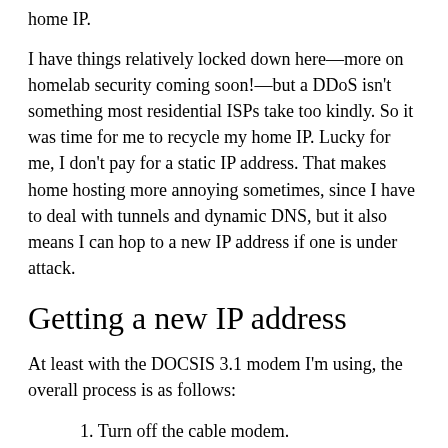home IP.
I have things relatively locked down here—more on homelab security coming soon!—but a DDoS isn't something most residential ISPs take too kindly. So it was time for me to recycle my home IP. Lucky for me, I don't pay for a static IP address. That makes home hosting more annoying sometimes, since I have to deal with tunnels and dynamic DNS, but it also means I can hop to a new IP address if one is under attack.
Getting a new IP address
At least with the DOCSIS 3.1 modem I'm using, the overall process is as follows:
1. Turn off the cable modem.
2. Set a new MAC address on the router.
3. Restart the router.
4. Restart the cable modem.